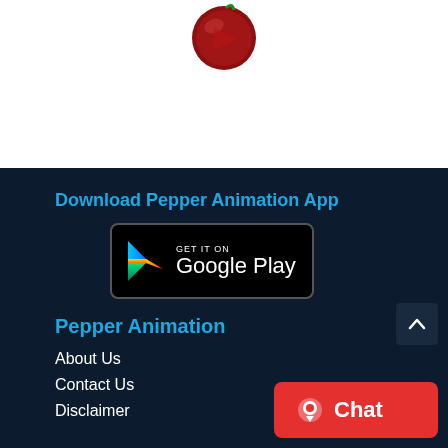[Figure (logo): Red pepper/chili logo icon at top center of page]
Download Pepper Animation App
[Figure (other): Google Play Store badge button: GET IT ON Google Play]
Pepper Animation
About Us
Contact Us
Disclaimer